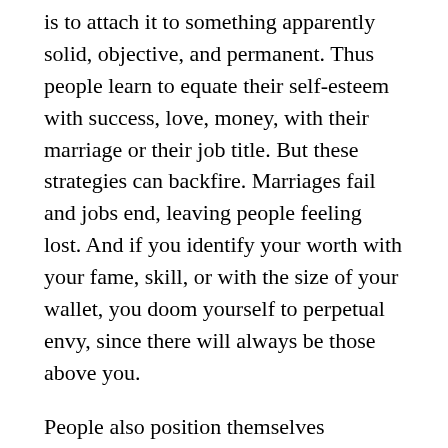is to attach it to something apparently solid, objective, and permanent. Thus people learn to equate their self-esteem with success, love, money, with their marriage or their job title. But these strategies can backfire. Marriages fail and jobs end, leaving people feeling lost. And if you identify your worth with your fame, skill, or with the size of your wallet, you doom yourself to perpetual envy, since there will always be those above you.
People also position themselves demographically; they identify themselves with their age, nationality, ethnicity, race, or gender. These strategies have the merit of at least pointing to something substantial. I